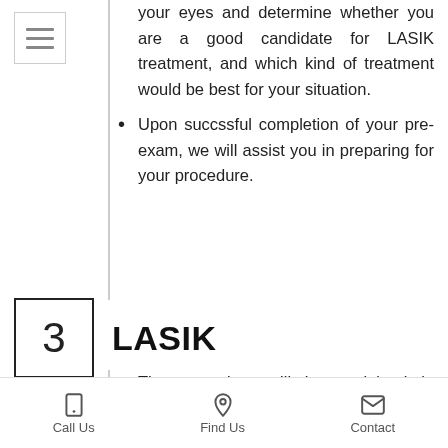[Figure (other): Hamburger menu icon (three horizontal lines in a square box)]
your eyes and determine whether you are a good candidate for LASIK treatment, and which kind of treatment would be best for your situation.
Upon succssful completion of your pre-exam, we will assist you in preparing for your procedure.
3   LASIK
The procedure will be explained in detail.
You will be given eye drops to prevent
Call Us   Find Us   Contact